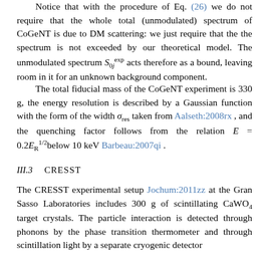Notice that with the procedure of Eq. (26) we do not require that the whole total (unmodulated) spectrum of CoGeNT is due to DM scattering: we just require that the the spectrum is not exceeded by our theoretical model. The unmodulated spectrum S_{0j}^{exp} acts therefore as a bound, leaving room in it for an unknown background component.
The total fiducial mass of the CoGeNT experiment is 330 g, the energy resolution is described by a Gaussian function with the form of the width sigma_res taken from Aalseth:2008rx , and the quenching factor follows from the relation E = 0.2E_R^{1/2} below 10 keV Barbeau:2007qi .
III.3    CRESST
The CRESST experimental setup Jochum:2011zz at the Gran Sasso Laboratories includes 300 g of scintillating CaWO4 target crystals. The particle interaction is detected through phonons by the phase transition thermometer and through scintillation light by a separate cryogenic detector